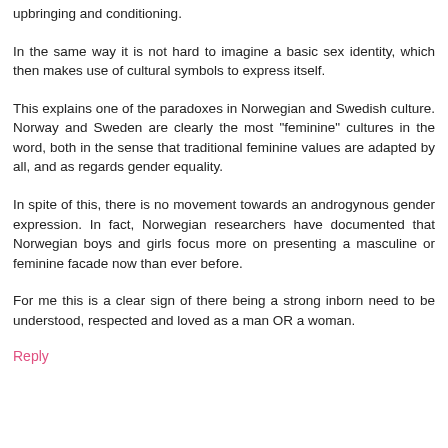upbringing and conditioning.
In the same way it is not hard to imagine a basic sex identity, which then makes use of cultural symbols to express itself.
This explains one of the paradoxes in Norwegian and Swedish culture. Norway and Sweden are clearly the most "feminine" cultures in the word, both in the sense that traditional feminine values are adapted by all, and as regards gender equality.
In spite of this, there is no movement towards an androgynous gender expression. In fact, Norwegian researchers have documented that Norwegian boys and girls focus more on presenting a masculine or feminine facade now than ever before.
For me this is a clear sign of there being a strong inborn need to be understood, respected and loved as a man OR a woman.
Reply